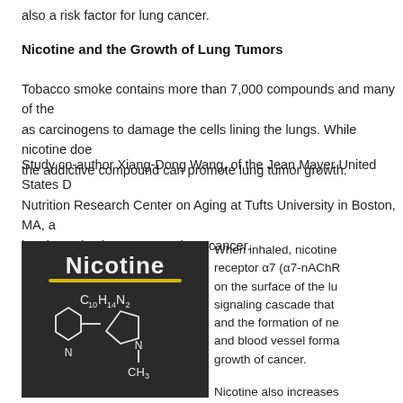also a risk factor for lung cancer.
Nicotine and the Growth of Lung Tumors
Tobacco smoke contains more than 7,000 compounds and many of them act as carcinogens to damage the cells lining the lungs. While nicotine does not, the addictive compound can promote lung tumor growth.
Study co-author Xiang-Dong Wang, of the Jean Mayer United States D Nutrition Research Center on Aging at Tufts University in Boston, MA, a into how nicotine promotes lung cancer.
[Figure (photo): Chalkboard image showing the word 'Nicotine' with a yellow underline and its chemical formula C10H14N2 with a structural diagram drawn in white chalk.]
When inhaled, nicotine binds to receptor α7 (α7-nAChR) on the surface of the lu signaling cascade that and the formation of ne and blood vessel forma growth of cancer.
Nicotine also increases